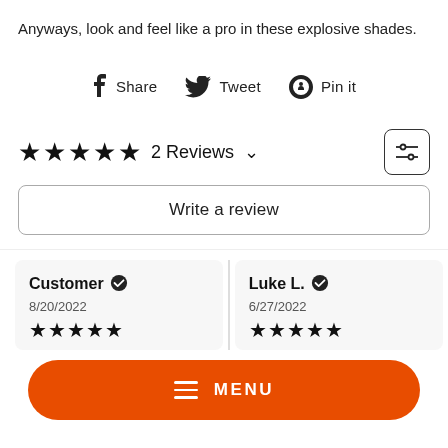Anyways, look and feel like a pro in these explosive shades.
Share  Tweet  Pin it
★★★★★  2 Reviews  ∨
Write a review
Customer ✔  8/20/2022  ★★★★★
Luke L. ✔  6/27/2022  ★★★★★
MENU